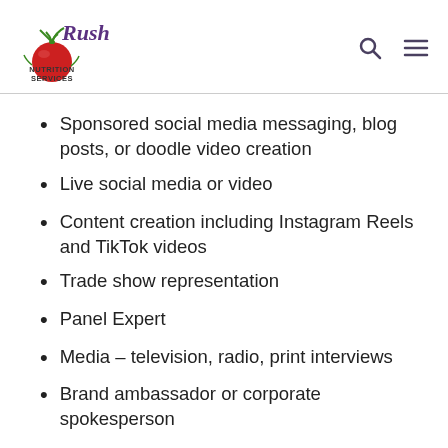Rush Nutrition Services
Sponsored social media messaging, blog posts, or doodle video creation
Live social media or video
Content creation including Instagram Reels and TikTok videos
Trade show representation
Panel Expert
Media – television, radio, print interviews
Brand ambassador or corporate spokesperson